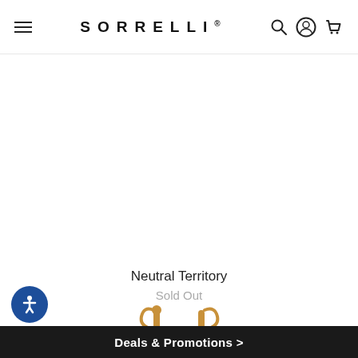SORRELLI®
Neutral Territory
Sold Out
[Figure (photo): Gold earrings with colorful gemstones on a white background, partially visible at bottom of page]
Deals & Promotions >